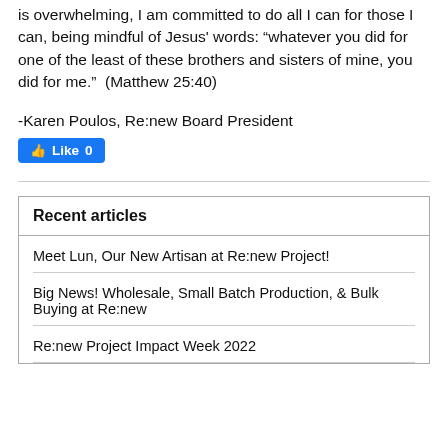is overwhelming, I am committed to do all I can for those I can, being mindful of Jesus' words: “whatever you did for one of the least of these brothers and sisters of mine, you did for me.”  (Matthew 25:40)
-Karen Poulos, Re:new Board President
[Figure (screenshot): Facebook Like button showing thumbs up icon and 'Like 0']
| Recent articles |
| --- |
| Meet Lun, Our New Artisan at Re:new Project! |
| Big News! Wholesale, Small Batch Production, & Bulk Buying at Re:new |
| Re:new Project Impact Week 2022 |